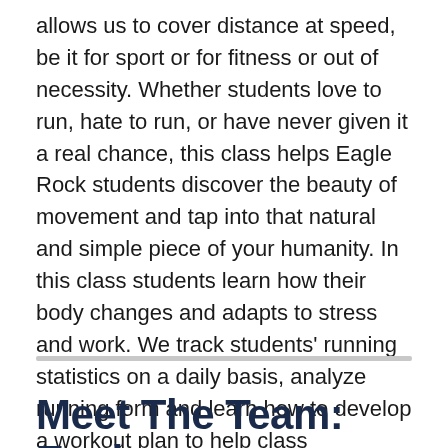allows us to cover distance at speed, be it for sport or for fitness or out of necessity. Whether students love to run, hate to run, or have never given it a real chance, this class helps Eagle Rock students discover the beauty of movement and tap into that natural and simple piece of your humanity. In this class students learn how their body changes and adapts to stress and work. We track students' running statistics on a daily basis, analyze running form and learn how to develop a workout plan to help class participants achieve their goals. In this 10-week course, students run almost every day — rain or shine, on or off trail — with the goal of participating in running events ranging from Continue reading...
Meet The Team: Eagle